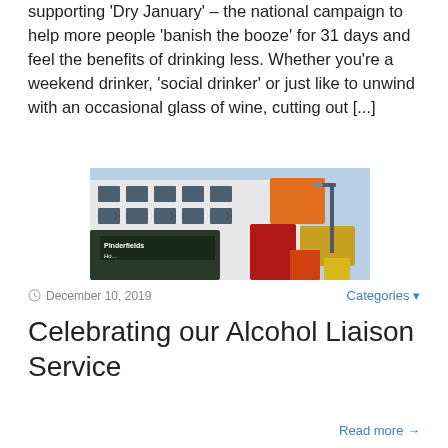supporting 'Dry January' – the national campaign to help more people 'banish the booze' for 31 days and feel the benefits of drinking less. Whether you're a weekend drinker, 'social drinker' or just like to unwind with an occasional glass of wine, cutting out […]
[Figure (photo): Exterior photo of Pinderfields Hospital building, showing a modern white facade with colourful orange, red and yellow decorative panels, with a street lamp and blue sky in the background.]
December 10, 2019
Categories
Celebrating our Alcohol Liaison Service
Read more →